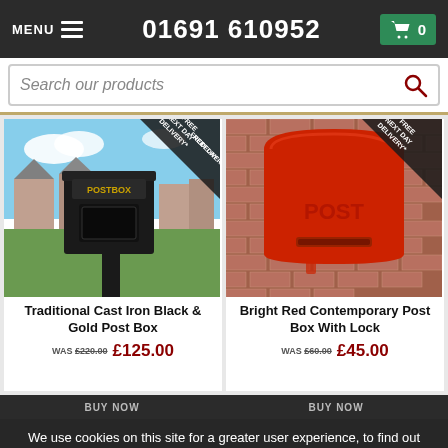MENU  01691 610952  🛒 0
Search our products
[Figure (photo): Traditional Cast Iron Black & Gold Post Box mounted on a post in a residential street setting]
[Figure (photo): Bright Red Contemporary Post Box With Lock mounted on a brick wall]
Traditional Cast Iron Black & Gold Post Box
WAS £220.00  £125.00
Bright Red Contemporary Post Box With Lock
WAS £60.00  £45.00
We use cookies on this site for a greater user experience, to find out more, view our cookie policy.
(close)